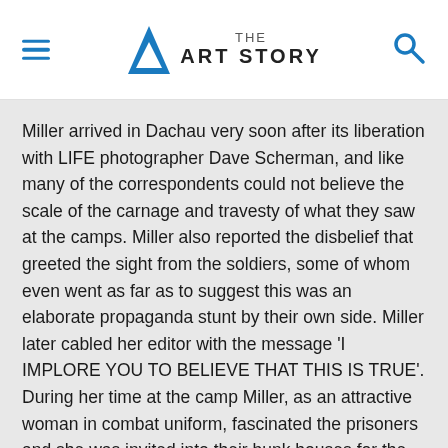THE ART STORY
Miller arrived in Dachau very soon after its liberation with LIFE photographer Dave Scherman, and like many of the correspondents could not believe the scale of the carnage and travesty of what they saw at the camps. Miller also reported the disbelief that greeted the sight from the soldiers, some of whom even went as far as to suggest this was an elaborate propaganda stunt by their own side. Miller later cabled her editor with the message 'I IMPLORE YOU TO BELIEVE THAT THIS IS TRUE'. During her time at the camp Miller, as an attractive woman in combat uniform, fascinated the prisoners and she was invited into their bunk houses for the purposes of documenting their squalor. Miller also photographed guards who had attempted to escape the camp and been were in turn attacked by the tortured and